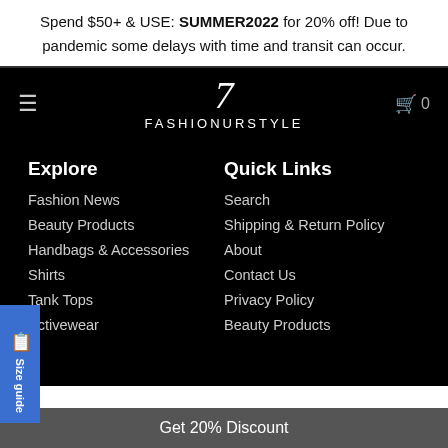Spend $50+ & USE: SUMMER2022 for 20% off! Due to pandemic some delays with time and transit can occur.
[Figure (logo): FashionUrStyle logo with stylized 7 above the text FASHIONURSTYLE on a black navigation bar, with hamburger menu icon on the left and cart icon with 0 on the right.]
Explore
Fashion News
Beauty Products
Handbags & Accessories
Shirts
Tank Tops
Activewear
Quick Links
Search
Shipping & Return Policy
About
Contact Us
Privacy Policy
Beauty Products
Get 20% Discount